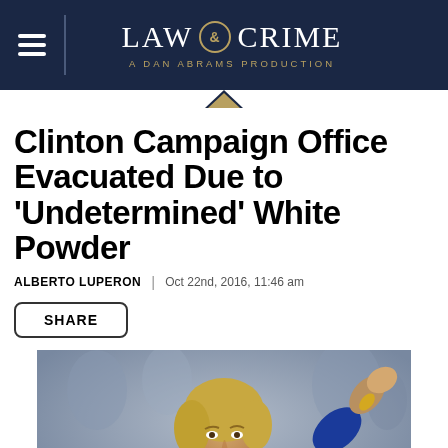LAW & CRIME — A DAN ABRAMS PRODUCTION
Clinton Campaign Office Evacuated Due to 'Undetermined' White Powder
ALBERTO LUPERON | Oct 22nd, 2016, 11:46 am
SHARE
[Figure (photo): Hillary Clinton speaking at a campaign rally, wearing a blue jacket, holding a microphone and gesturing with her right hand raised, with a crowd in the background]